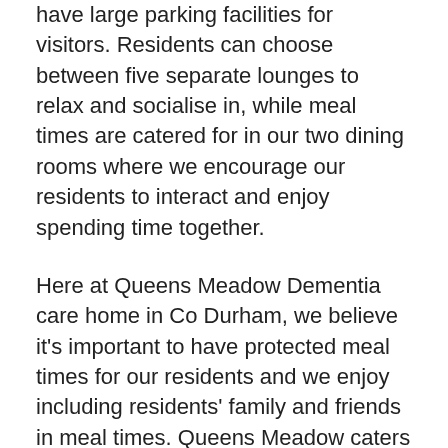have large parking facilities for visitors. Residents can choose between five separate lounges to relax and socialise in, while meal times are catered for in our two dining rooms where we encourage our residents to interact and enjoy spending time together.
Here at Queens Meadow Dementia care home in Co Durham, we believe it's important to have protected meal times for our residents and we enjoy including residents' family and friends in meal times. Queens Meadow caters for any celebrations from birthdays to anniversaries and everything in between as well as appropriately catering for any dietary and cultural requirements. In Queens Meadow, snacks, fresh fruit and refreshment are available 24 hours a day and we also have special/themed meal nights for our residents. We understand and respect our residents' privacy and also offer all residents the option of having their meals in their